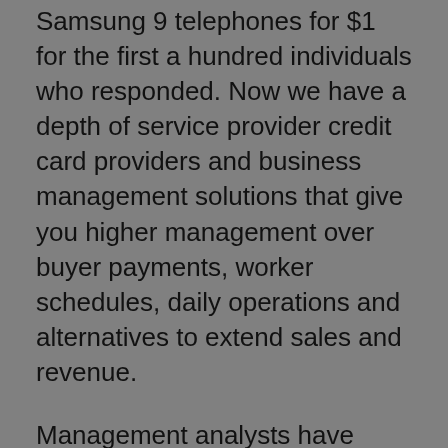Samsung 9 telephones for $1 for the first a hundred individuals who responded. Now we have a depth of service provider credit card providers and business management solutions that give you higher management over buyer payments, worker schedules, daily operations and alternatives to extend sales and revenue.
Management analysts have spectacular earning potential, thanks to the outcomes they can carry to their shoppers. After the success of the primary LEO, Lyons went into enterprise manufacturing computer systems to meet the growing want for information processing methods in business. What most profitable managers carry to their work in main crews, departments, divisions, and corporations is each a strong knowledge of the business (they're very experienced) and a solid